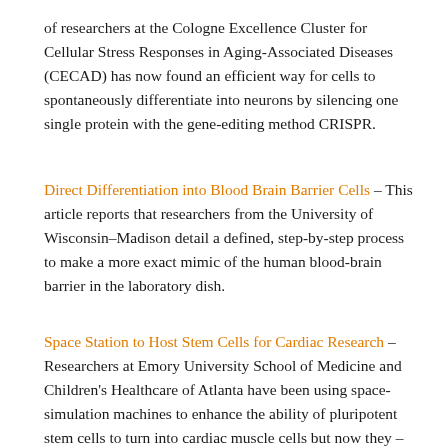of researchers at the Cologne Excellence Cluster for Cellular Stress Responses in Aging-Associated Diseases (CECAD) has now found an efficient way for cells to spontaneously differentiate into neurons by silencing one single protein with the gene-editing method CRISPR.
Direct Differentiation into Blood Brain Barrier Cells – This article reports that researchers from the University of Wisconsin–Madison detail a defined, step-by-step process to make a more exact mimic of the human blood-brain barrier in the laboratory dish.
Space Station to Host Stem Cells for Cardiac Research – Researchers at Emory University School of Medicine and Children's Healthcare of Atlanta have been using space-simulation machines to enhance the ability of pluripotent stem cells to turn into cardiac muscle cells but now they – or the cells they've carefully cultured, will get the chance to